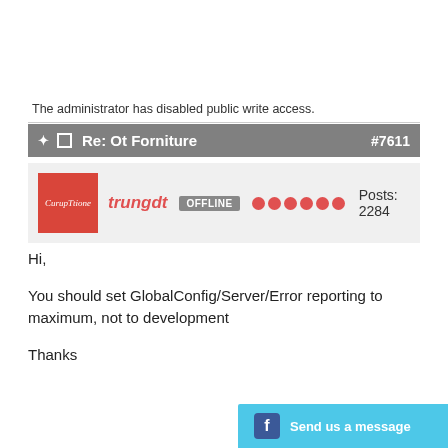The administrator has disabled public write access.
Re: Ot Forniture #7611
trungdt  OFFLINE  ●●●●●●  Posts: 2284
Hi,

You should set GlobalConfig/Server/Error reporting to maximum, not to development

Thanks
Send us a message